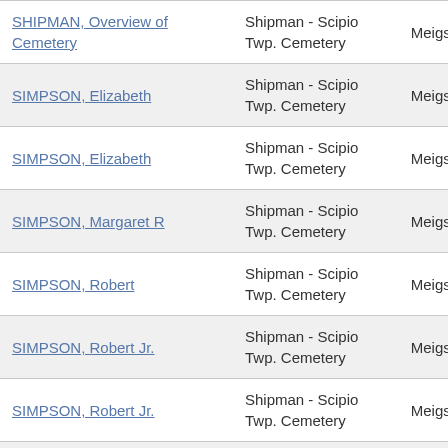| Name | Cemetery | County |
| --- | --- | --- |
| SHIPMAN, Overview of Cemetery | Shipman - Scipio Twp. Cemetery | Meigs |
| SIMPSON, Elizabeth | Shipman - Scipio Twp. Cemetery | Meigs |
| SIMPSON, Elizabeth | Shipman - Scipio Twp. Cemetery | Meigs |
| SIMPSON, Margaret R | Shipman - Scipio Twp. Cemetery | Meigs |
| SIMPSON, Robert | Shipman - Scipio Twp. Cemetery | Meigs |
| SIMPSON, Robert Jr. | Shipman - Scipio Twp. Cemetery | Meigs |
| SIMPSON, Robert Jr. | Shipman - Scipio Twp. Cemetery | Meigs |
| SKINNER DYE, Sarah J. | Shipman - Scipio Twp. Cemetery | Meigs |
| STAHL GOTSCHALL, Catherine | Shipman - Scipio Twp. | Meigs |